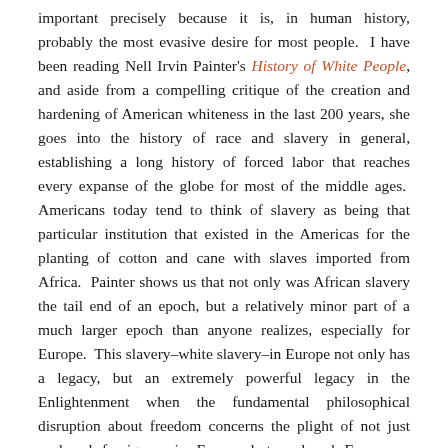important precisely because it is, in human history, probably the most evasive desire for most people.  I have been reading Nell Irvin Painter's History of White People, and aside from a compelling critique of the creation and hardening of American whiteness in the last 200 years, she goes into the history of race and slavery in general, establishing a long history of forced labor that reaches every expanse of the globe for most of the middle ages.  Americans today tend to think of slavery as being that particular institution that existed in the Americas for the planting of cotton and cane with slaves imported from Africa.  Painter shows us that not only was African slavery the tail end of an epoch, but a relatively minor part of a much larger epoch than anyone realizes, especially for Europe.  This slavery–white slavery–in Europe not only has a legacy, but an extremely powerful legacy in the Enlightenment when the fundamental philosophical disruption about freedom concerns the plight of not just enslaved foreigners in Europe but enslaved Europeans themselves.  The legacy of slavery in Europe extends well into the 18th century, such that Robinson Crusoe was not only slave trader and owner but was once a slave himself.  By the time of the settling of the new world, Painter estimates that before the